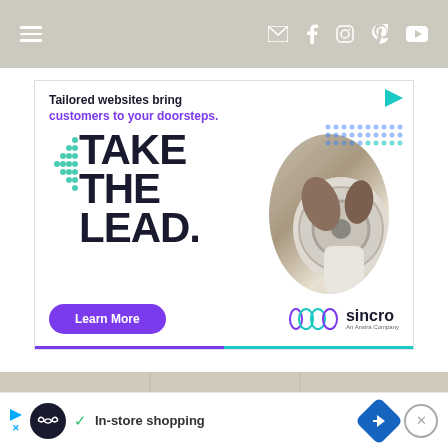Navigation bar with hamburger menu and social icons (email, facebook, instagram, pinterest, youtube)
[Figure (infographic): Advertisement banner for Sincro. Headline: 'Tailored websites bring customers to your doorsteps.' Large bold text: 'TAKE THE LEAD.' with decorative green dot pattern and circular photo of person driving. Purple 'Learn More' button. Sincro logo with rings icon. Gradient line at bottom (purple to teal).]
[Figure (photo): Partial photo of a room showing ceiling tiles and wall, beige/grey tones.]
In-store shopping
[Figure (infographic): Bottom ad bar: play icon, infinity logo circle, checkmark, 'In-store shopping' text, blue navigation diamond icon, close X button.]